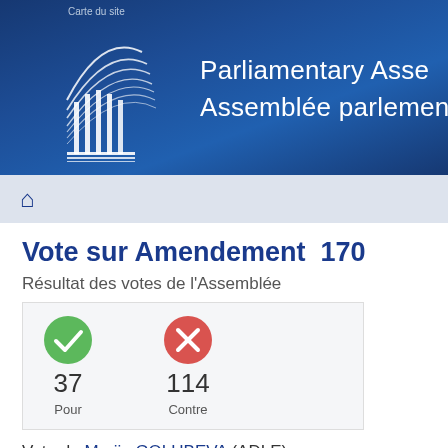Carte du site
[Figure (logo): Council of Europe Parliamentary Assembly logo - white line art of building/columns with curved lines on dark blue background]
Parliamentary Assembly / Assemblée parlementaire
Vote sur Amendement  170
Résultat des votes de l'Assemblée
| Pour | Contre |
| --- | --- |
| 37 | 114 |
Vote de Marija GOLUBEVA (ADLE)